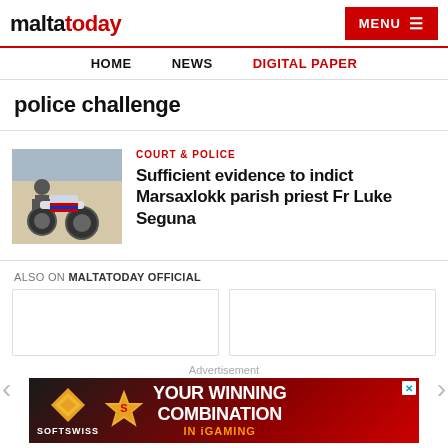maltatoday — MENU
HOME | NEWS | DIGITAL PAPER
police challenge
COURT & POLICE
Sufficient evidence to indict Marsaxlokk parish priest Fr Luke Seguna
ALSO ON MALTATODAY OFFICIAL
Advertisement
[Figure (photo): Advertisement banner for SOFTSWISS: YOUR WINNING COMBINATION IN iGAMING]
[Figure (photo): Thumbnail image of a person on a motorcycle]